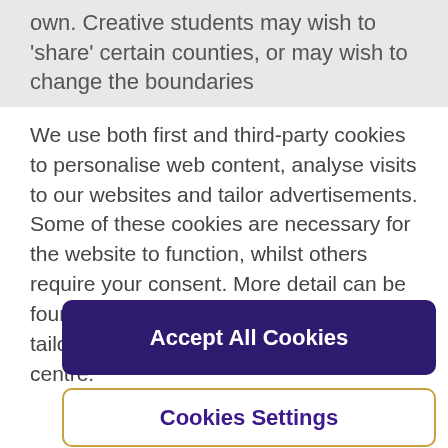own. Creative students may wish to 'share' certain counties, or may wish to change the boundaries
We use both first and third-party cookies to personalise web content, analyse visits to our websites and tailor advertisements. Some of these cookies are necessary for the website to function, whilst others require your consent. More detail can be found in our cookie policy and you can tailor your choices in the preference centre.
Accept All Cookies
Cookies Settings